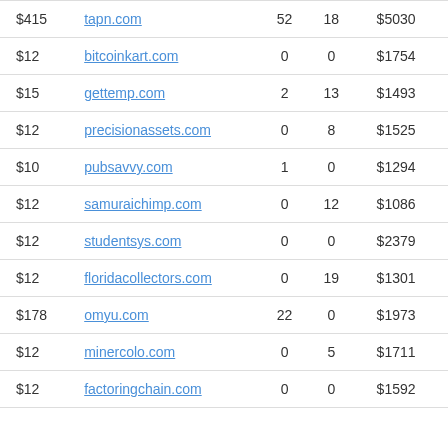| Price | Domain | Col1 | Col2 | Value |  |
| --- | --- | --- | --- | --- | --- |
| $415 | tapn.com | 52 | 18 | $5030 |  |
| $12 | bitcoinkart.com | 0 | 0 | $1754 |  |
| $15 | gettemp.com | 2 | 13 | $1493 |  |
| $12 | precisionassets.com | 0 | 8 | $1525 |  |
| $10 | pubsavvy.com | 1 | 0 | $1294 |  |
| $12 | samuraichimp.com | 0 | 12 | $1086 |  |
| $12 | studentsys.com | 0 | 0 | $2379 |  |
| $12 | floridacollectors.com | 0 | 19 | $1301 |  |
| $178 | omyu.com | 22 | 0 | $1973 |  |
| $12 | minercolo.com | 0 | 5 | $1711 |  |
| $12 | factoringchain.com | 0 | 0 | $1592 |  |